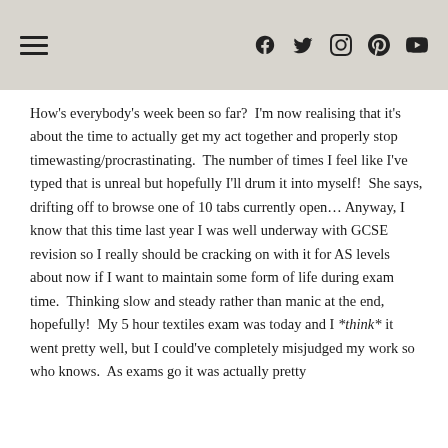[hamburger menu icon] [social icons: Facebook, Twitter, Instagram, Pinterest, YouTube]
How's everybody's week been so far?  I'm now realising that it's about the time to actually get my act together and properly stop timewasting/procrastinating.  The number of times I feel like I've typed that is unreal but hopefully I'll drum it into myself!  She says, drifting off to browse one of 10 tabs currently open… Anyway, I know that this time last year I was well underway with GCSE revision so I really should be cracking on with it for AS levels about now if I want to maintain some form of life during exam time.  Thinking slow and steady rather than manic at the end, hopefully!  My 5 hour textiles exam was today and I *think* it went pretty well, but I could've completely misjudged my work so who knows.  As exams go it was actually pretty